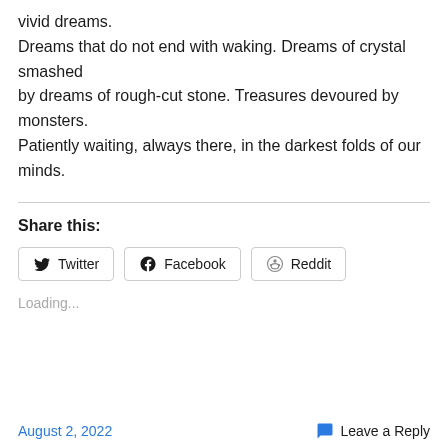vivid dreams.
Dreams that do not end with waking. Dreams of crystal smashed
by dreams of rough-cut stone. Treasures devoured by monsters.
Patiently waiting, always there, in the darkest folds of our minds.
Share this:
Twitter  Facebook  Reddit
Loading...
August 2, 2022    Leave a Reply